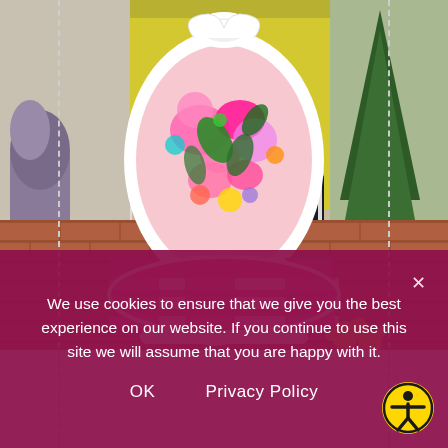[Figure (photo): A ornate white French-style chair with a colorful floral fabric on the oval back and a pink-and-white buffalo check fabric on the seat, photographed outdoors on brick steps with plants and a yellow door in the background, and yellow flowers (dandelions) visible in the lower right corner.]
We use cookies to ensure that we give you the best experience on our website. If you continue to use this site we will assume that you are happy with it.
OK
Privacy Policy